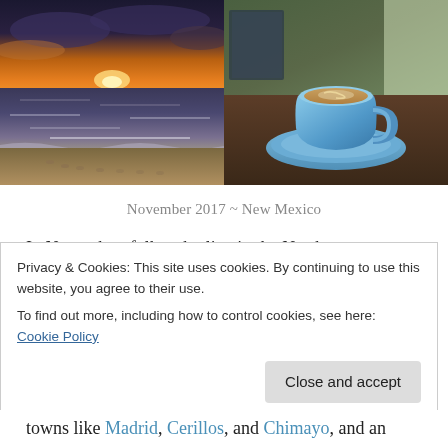[Figure (photo): Two side-by-side photos: left is a beach sunset with orange sky and ocean waves; right is a blue coffee cup on a saucer on a wooden table.]
November 2017 ~ New Mexico
In November, folks who live in the Northwest yearn for the sun. You can find sun, color, history, and a unique
Privacy & Cookies: This site uses cookies. By continuing to use this website, you agree to their use.
To find out more, including how to control cookies, see here: Cookie Policy
Close and accept
towns like Madrid, Cerillos, and Chimayo, and an